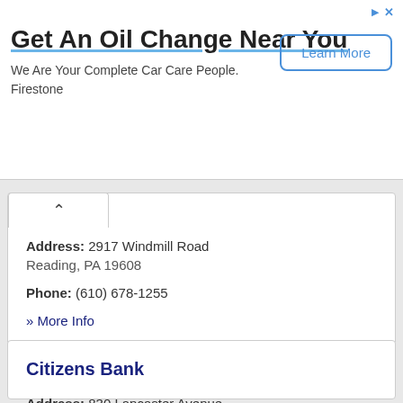[Figure (other): Advertisement banner: 'Get An Oil Change Near You' - We Are Your Complete Car Care People. Firestone. With 'Learn More' button.]
Address: 2917 Windmill Road Reading, PA 19608
Phone: (610) 678-1255
» More Info
Citizens Bank
Address: 830 Lancaster Avenue Reading, PA 19607
Phone: (610) 796-8449
» More Info